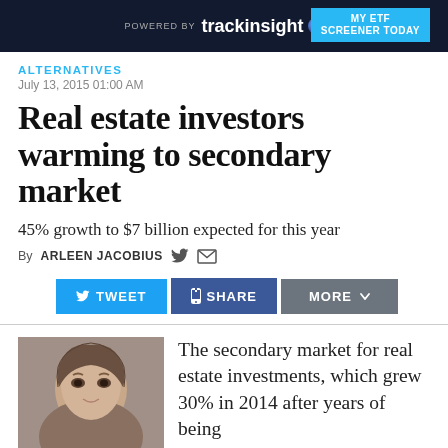[Figure (screenshot): Advertisement banner for trackinsight ETF screener, dark navy background with trackinsight logo and 'MY ETF SCREENER TODAY' button in blue]
ALTERNATIVES
July 13, 2015 01:00 AM
Real estate investors warming to secondary market
45% growth to $7 billion expected for this year
By ARLEEN JACOBIUS
[Figure (infographic): Social sharing buttons: TWEET (blue), SHARE (dark blue), MORE (grey with chevron)]
[Figure (photo): Headshot photo of a man with dark hair]
The secondary market for real estate investments, which grew 30% in 2014 after years of being